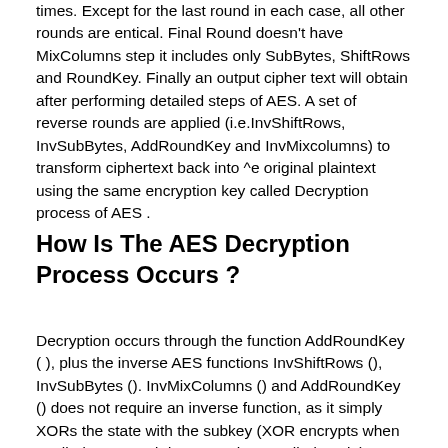times. Except for the last round in each case, all other rounds are entical. Final Round doesn't have MixColumns step it includes only SubBytes, ShiftRows and RoundKey. Finally an output cipher text will obtain after performing detailed steps of AES. A set of reverse rounds are applied (i.e.InvShiftRows, InvSubBytes, AddRoundKey and InvMixcolumns) to transform ciphertext back into ^e original plaintext using the same encryption key called Decryption process of AES .
How Is The AES Decryption Process Occurs ?
Decryption occurs through the function AddRoundKey ( ), plus the inverse AES functions InvShiftRows (), InvSubBytes (). InvMixColumns () and AddRoundKey () does not require an inverse function, as it simply XORs the state with the subkey (XOR encrypts when applied once, and decrypts when applied again). We aware that AES encrypts the plain text by applying